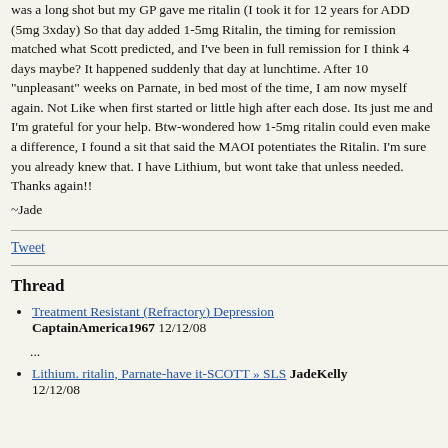was a long shot but my GP gave me ritalin (I took it for 12 years for ADD (5mg 3xday) So that day added 1-5mg Ritalin, the timing for remission matched what Scott predicted, and I've been in full remission for I think 4 days maybe? It happened suddenly that day at lunchtime. After 10 "unpleasant" weeks on Parnate, in bed most of the time, I am now myself again. Not Like when first started or little high after each dose. Its just me and I'm grateful for your help. Btw-wondered how 1-5mg ritalin could even make a difference, I found a sit that said the MAOI potentiates the Ritalin. I'm sure you already knew that. I have Lithium, but wont take that unless needed. Thanks again!!
~Jade
Tweet
Thread
Treatment Resistant (Refractory) Depression CaptainAmerica1967 12/12/08
...
Lithium. ritalin, Parnate-have it-SCOTT » SLS JadeKelly 12/12/08